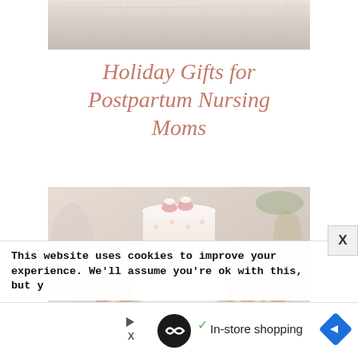[Figure (photo): Partial top of an image showing a light beige/cream textured background, cropped at the top of the page]
Holiday Gifts for Postpartum Nursing Moms
[Figure (photo): A white tiered baby shower cake decorated with small pink baby shoes on top and pink floral accents, surrounded by decorated sugar cookies on a dessert table]
This website uses cookies to improve your experience. We'll assume you're ok with this, but y
[Figure (other): Advertisement banner showing a loop/infinity icon in a black circle, a checkmark, and 'In-store shopping' text with a blue navigation arrow icon, and an ad play button]